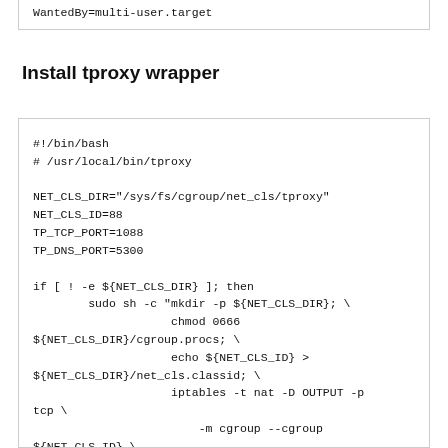WantedBy=multi-user.target
Install tproxy wrapper
#!/bin/bash
# /usr/local/bin/tproxy

NET_CLS_DIR="/sys/fs/cgroup/net_cls/tproxy"
NET_CLS_ID=88
TP_TCP_PORT=1088
TP_DNS_PORT=5300

if [ ! -e ${NET_CLS_DIR} ]; then
        sudo sh -c "mkdir -p ${NET_CLS_DIR}; \
                    chmod 0666 ${NET_CLS_DIR}/cgroup.procs; \
                    echo ${NET_CLS_ID} > ${NET_CLS_DIR}/net_cls.classid; \
                    iptables -t nat -D OUTPUT -p tcp \
                        -m cgroup --cgroup ${NET_CLS_ID} \